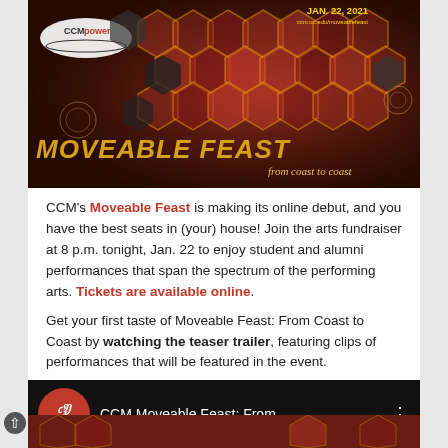[Figure (illustration): CCMpower banner for Moveable Feast: From Coast to Coast event on Jan. 22, 2021. Honeycomb pattern with performer photos, date JAN. 22, 2021, ccm.uc.edu/moveablefeast URL, and large stylized text 'MOVEABLE FEAST from coast to coast'.]
CCM's Moveable Feast is making its online debut, and you have the best seats in (your) house! Join the arts fundraiser at 8 p.m. tonight, Jan. 22 to enjoy student and alumni performances that span the spectrum of the performing arts. Tickets are available online.
Get your first taste of Moveable Feast: From Coast to Coast by watching the teaser trailer, featuring clips of performances that will be featured in the event.
[Figure (screenshot): YouTube video thumbnail showing CCM Moveable Feast: From... with UC CCM logo circle and three-dot menu icon on black bar.]
[Figure (illustration): Partial preview of Moveable Feast event promotional image with honeycomb pattern and performer images.]